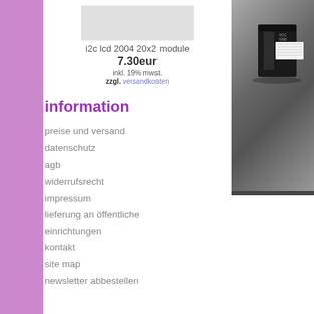[Figure (photo): Product thumbnail placeholder image for i2c lcd 2004 20x2 module]
i2c lcd 2004 20x2 module
7.30eur
inkl. 19% mwst.
zzgl. versandkosten
information
preise und versand
datenschutz
agb
widerrufsrecht
impressum
lieferung an öffentliche einrichtungen
kontakt
site map
newsletter abbestellen
[Figure (photo): Electronic component (black connector/module) photographed on gray background]